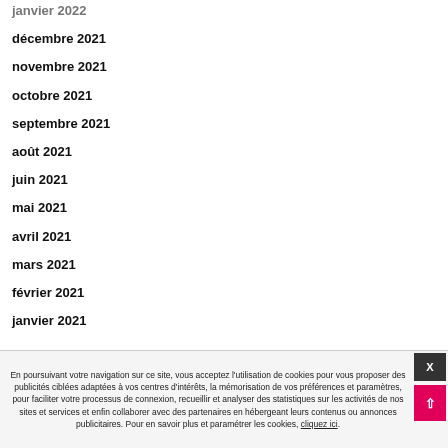janvier 2022
décembre 2021
novembre 2021
octobre 2021
septembre 2021
août 2021
juin 2021
mai 2021
avril 2021
mars 2021
février 2021
janvier 2021
En poursuivant votre navigation sur ce site, vous acceptez l'utilisation de cookies pour vous proposer des publicités ciblées adaptées à vos centres d'intérêts, la mémorisation de vos préférences et paramètres, pour faciliter votre processus de connexion, recueillir et analyser des statistiques sur les activités de nos sites et services et enfin collaborer avec des partenaires en hébergeant leurs contenus ou annonces publicitaires. Pour en savoir plus et paramétrer les cookies, cliquez ici.